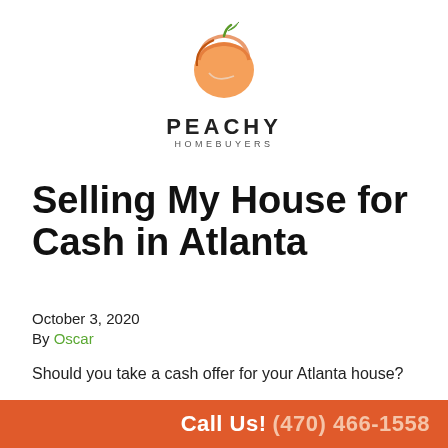[Figure (logo): Peachy Homebuyers logo — a stylized orange peach shape with a green leaf on top, and the text PEACHY in bold black uppercase with HOMEBUYERS in smaller spaced letters below]
Selling My House for Cash in Atlanta
October 3, 2020
By Oscar
Should you take a cash offer for your Atlanta house?
Not always.
Call Us! (470) 466-1558